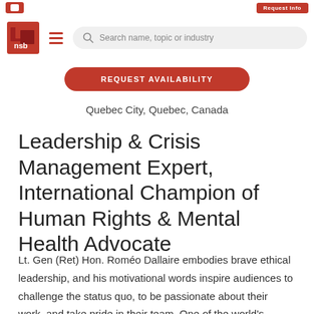Request Info
[Figure (logo): NSB logo — red cube with white 'nsb' text, hamburger menu icon in red, and search bar with placeholder 'Search name, topic or industry']
REQUEST AVAILABILITY
Quebec City, Quebec, Canada
Leadership & Crisis Management Expert, International Champion of Human Rights & Mental Health Advocate
Lt. Gen (Ret) Hon. Roméo Dallaire embodies brave ethical leadership, and his motivational words inspire audiences to challenge the status quo, to be passionate about their work, and take pride in their team. One of the world's